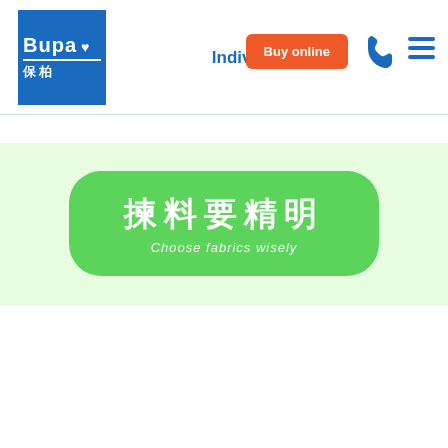[Figure (logo): Bupa 保柏 logo - blue square with white Bupa text and Chinese characters 保柏]
Individual  Buy online
[Figure (illustration): Green banner with rounded green pill button containing Chinese text 揀料要精明 and English subtitle Choose fabrics wisely on light green background]